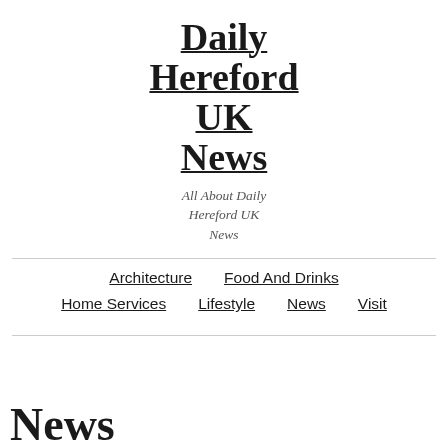Daily Hereford UK News
All About Daily Hereford UK News
Architecture
Food And Drinks
Home Services
Lifestyle
News
Visit
News